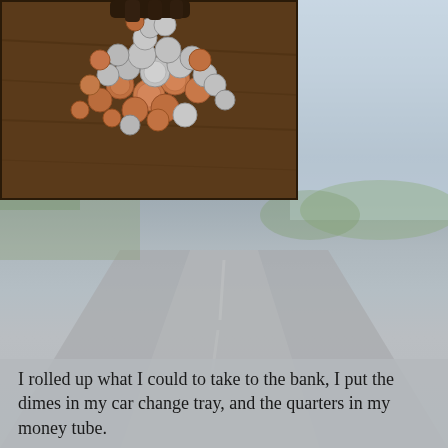[Figure (photo): A pile of mixed coins (pennies, dimes, quarters, nickels) scattered on a wooden table surface, photographed from above.]
[Figure (photo): Background image of a road stretching into the distance, with green trees and fields on both sides, soft blurred sky overhead. The road is a two-lane highway with a faded look.]
I rolled up what I could to take to the bank, I put the dimes in my car change tray, and the quarters in my money tube.